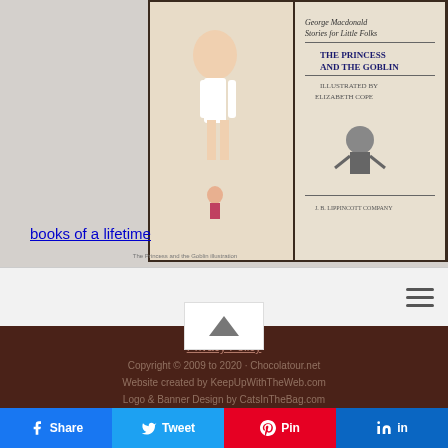[Figure (photo): Photo of an open vintage book showing an illustration of a girl doll and a book cover page reading 'George Macdonald Stories for Little Folks – The Princess and the Goblin – illustrated by Elizabeth Cope – J.B. Lippincott Company']
books of a lifetime
[Figure (other): Navigation bar with hamburger menu icon on the right]
[Figure (other): Back to top arrow button]
Privacy Policy
Copyright © 2009 to 2020 · Chocolatour.net
Website created by KeepUpWithTheWeb.com
Logo & Banner Design by CatsInTheBag.com
[Figure (other): Social media icons: Twitter, Facebook, LinkedIn, Instagram, Pinterest, Tumblr, YouTube]
[Figure (other): Share buttons: Facebook, Twitter, Pinterest, LinkedIn]